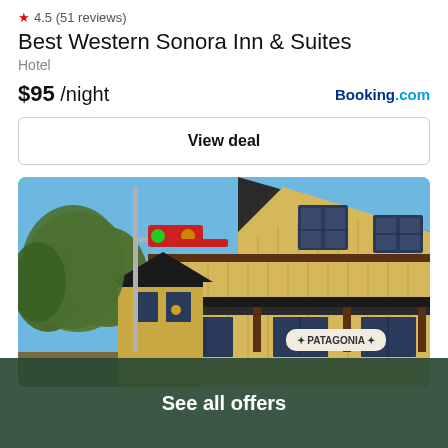4.5 (51 reviews)
Best Western Sonora Inn & Suites
Hotel
$95 /night
Booking.com
View deal
[Figure (photo): Photo of a yellow two-story building with a Patagonia sign, with a railroad signal light in the foreground and trees on the left against a blue sky.]
See all offers